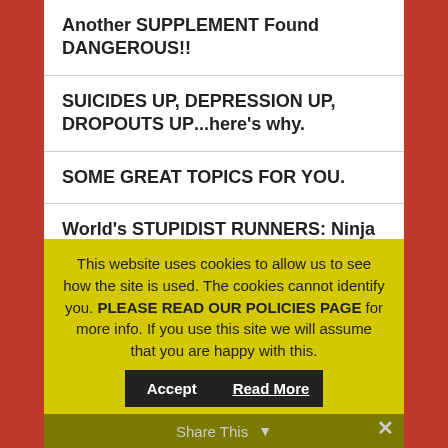Another SUPPLEMENT Found DANGEROUS!!
SUICIDES UP, DEPRESSION UP, DROPOUTS UP...here’s why.
SOME GREAT TOPICS FOR YOU.
World’s STUPIDIST RUNNERS: Ninja Runners.
Getting Your Goals ON.
Wait?! First Animal Foods Killing Us, Now, PLANT FOODS, Too?!
This website uses cookies to allow us to see how the site is used. The cookies cannot identify you. PLEASE READ OUR POLICIES PAGE for more info. If you use this site we will assume that you are happy with this.
Share This